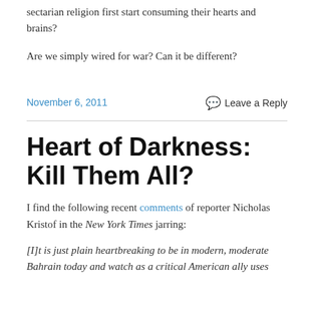sectarian religion first start consuming their hearts and brains?
Are we simply wired for war? Can it be different?
November 6, 2011
Leave a Reply
Heart of Darkness: Kill Them All?
I find the following recent comments of reporter Nicholas Kristof in the New York Times jarring:
[I]t is just plain heartbreaking to be in modern, moderate Bahrain today and watch as a critical American ally uses